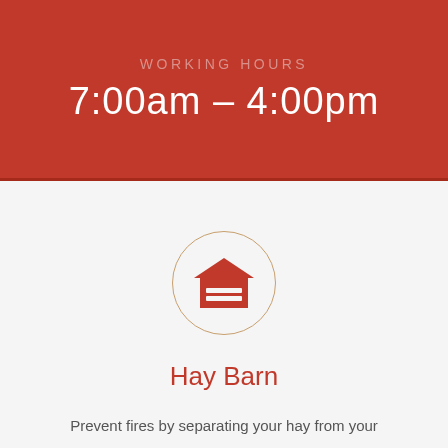WORKING HOURS
7:00am – 4:00pm
[Figure (illustration): Barn/hay barn icon inside a circular border with thin gold/tan outline]
Hay Barn
Prevent fires by separating your hay from your